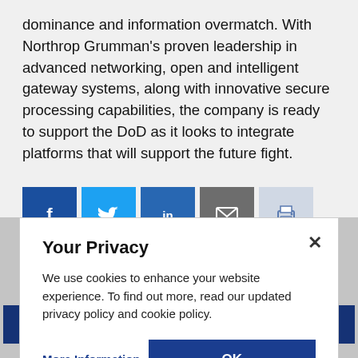dominance and information overmatch. With Northrop Grumman's proven leadership in advanced networking, open and intelligent gateway systems, along with innovative secure processing capabilities, the company is ready to support the DoD as it looks to integrate platforms that will support the future fight.
[Figure (other): Social media share icons: Facebook (blue), Twitter (light blue), LinkedIn (blue), Email (gray), Print (light gray)]
[Figure (other): Media Contact button (dark blue)]
Your Privacy
We use cookies to enhance your website experience. To find out more, read our updated privacy policy and cookie policy.
More Information
OK